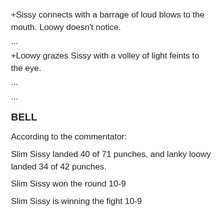+Sissy connects with a barrage of loud blows to the mouth. Loowy doesn't notice.
...
+Loowy grazes Sissy with a volley of light feints to the eye.
...
...
BELL
According to the commentator:
Slim Sissy landed 40 of 71 punches, and lanky loowy landed 34 of 42 punches.
Slim Sissy won the round 10-9
Slim Sissy is winning the fight 10-9